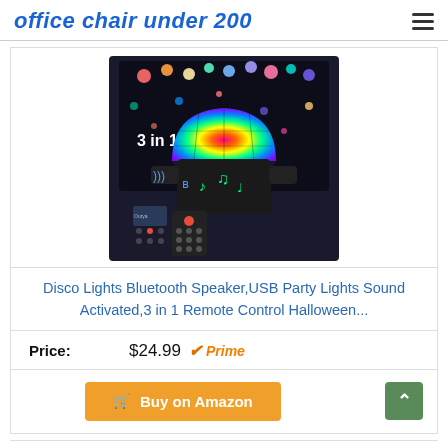office chair under 200
[Figure (photo): Disco ball Bluetooth speaker with remote control, showing colorful RGB LED lights on top and music note graphics on the black base. Text '3 in 1' visible on the device. Includes remote control and smartphone app shown.]
Disco Lights Bluetooth Speaker,USB Party Lights Sound Activated,3 in 1 Remote Control Halloween...
Price: $24.99 Prime
Buy on Amazon